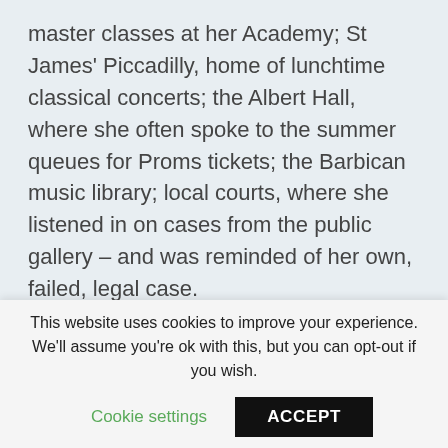master classes at her Academy; St James' Piccadilly, home of lunchtime classical concerts; the Albert Hall, where she often spoke to the summer queues for Proms tickets; the Barbican music library; local courts, where she listened in on cases from the public gallery – and was reminded of her own, failed, legal case.
J: In the 80s I used to see her walking nearly
This website uses cookies to improve your experience. We'll assume you're ok with this, but you can opt-out if you wish.
Cookie settings
ACCEPT